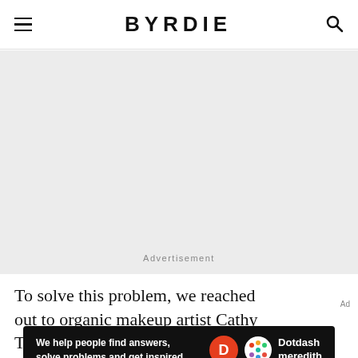BYRDIE
[Figure (other): Gray advertisement placeholder area with 'Advertisement' label at bottom center]
To solve this problem, we reached out to organic makeup artist Cathy Tolpigin, for her expertise and
[Figure (other): Dotdash Meredith bottom banner ad: 'We help people find answers, solve problems and get inspired.' with Dotdash Meredith logo]